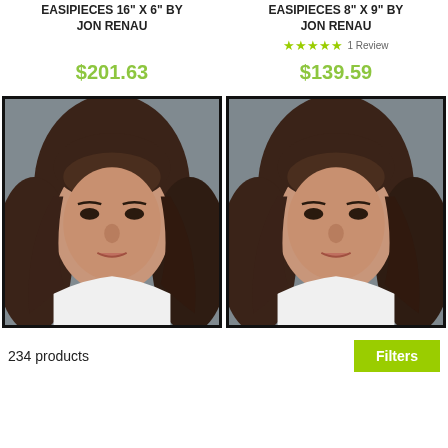EASIPIECES 16" X 6" by Jon Renau
EASIPIECES 8" X 9" by Jon Renau
★★★★★ 1 Review
$201.63
$139.59
[Figure (photo): Woman with brown shoulder-length hair, wearing white top, against gray background]
[Figure (photo): Woman with brown shoulder-length hair, wearing white top, against gray background]
234 products
Filters